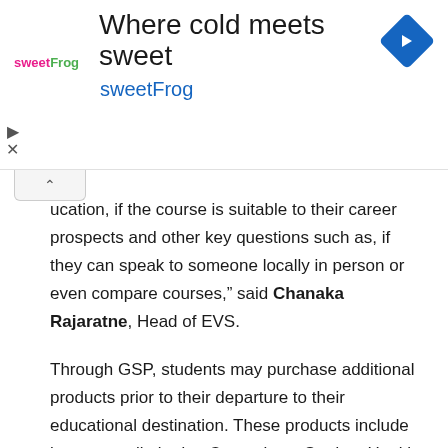[Figure (logo): sweetFrog ad banner with logo, tagline 'Where cold meets sweet', subtitle 'sweetFrog', and blue diamond navigation icon]
ucation, if the course is suitable to their career prospects and other key questions such as, if they can speak to someone locally in person or even compare courses,” said Chanaka Rajaratne, Head of EVS.
Through GSP, students may purchase additional products prior to their departure to their educational destination. These products include but are not limited to Compulsory Student Health Cover, Study Loans, Accommodation, Wi-Fi & Connectivity, Travel, and even extra tutoring. GSP is not only limited to the student’s educational prospects but also provides students with access to over 900 recruitment partners across the globe.